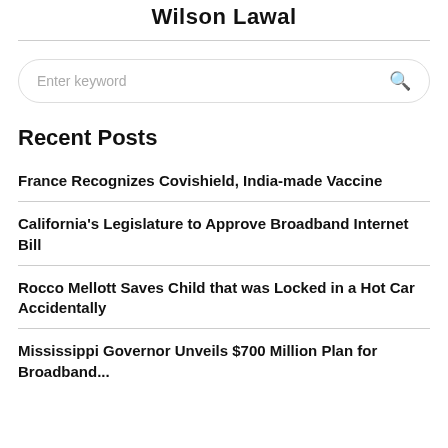Wilson Lawal
Enter keyword
Recent Posts
France Recognizes Covishield, India-made Vaccine
California's Legislature to Approve Broadband Internet Bill
Rocco Mellott Saves Child that was Locked in a Hot Car Accidentally
Mississippi Governor Unveils $700 Million Plan for Broadband...